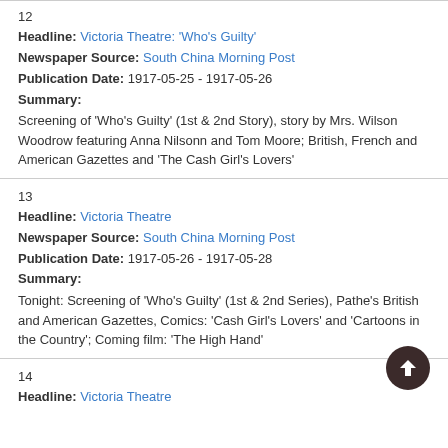12
Headline: Victoria Theatre: 'Who's Guilty'
Newspaper Source: South China Morning Post
Publication Date: 1917-05-25 - 1917-05-26
Summary:
Screening of 'Who's Guilty' (1st & 2nd Story), story by Mrs. Wilson Woodrow featuring Anna Nilsonn and Tom Moore; British, French and American Gazettes and 'The Cash Girl's Lovers'
13
Headline: Victoria Theatre
Newspaper Source: South China Morning Post
Publication Date: 1917-05-26 - 1917-05-28
Summary:
Tonight: Screening of 'Who's Guilty' (1st & 2nd Series), Pathe's British and American Gazettes, Comics: 'Cash Girl's Lovers' and 'Cartoons in the Country'; Coming film: 'The High Hand'
14
Headline: Victoria Theatre